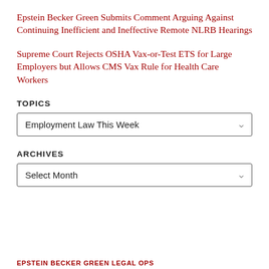Epstein Becker Green Submits Comment Arguing Against Continuing Inefficient and Ineffective Remote NLRB Hearings
Supreme Court Rejects OSHA Vax-or-Test ETS for Large Employers but Allows CMS Vax Rule for Health Care Workers
TOPICS
Employment Law This Week
ARCHIVES
Select Month
EPSTEIN BECKER GREEN LEGAL OPS